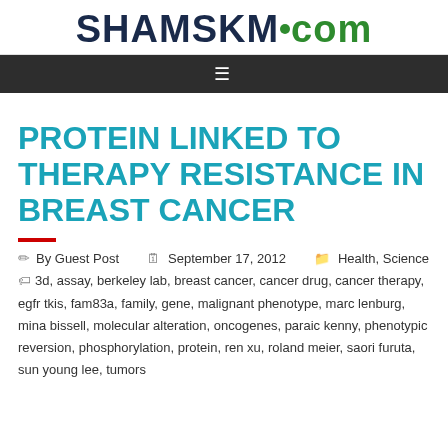SHAMSKM.com
PROTEIN LINKED TO THERAPY RESISTANCE IN BREAST CANCER
By Guest Post   September 17, 2012   Health, Science
3d, assay, berkeley lab, breast cancer, cancer drug, cancer therapy, egfr tkis, fam83a, family, gene, malignant phenotype, marc lenburg, mina bissell, molecular alteration, oncogenes, paraic kenny, phenotypic reversion, phosphorylation, protein, ren xu, roland meier, saori furuta, sun young lee, tumors